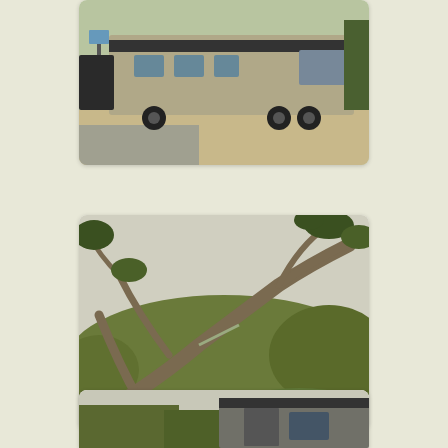[Figure (photo): RV/motorhome parked at a campsite, viewed from the side, with trees and other vehicles visible]
[Figure (photo): Low-growing live oak trees with twisted branches and shrubs, coastal landscape, sky visible in background]
The view from our bedroom window.
[Figure (photo): RV/motorhome partially visible among trees at a campsite, similar to the first photo]